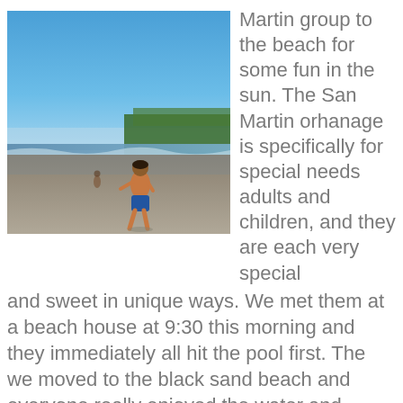[Figure (photo): A person running on a wide black sand beach with palm trees and blue sky in the background, ocean waves visible to the left.]
Martin group to the beach for some fun in the sun. The San Martin orhanage is specifically for special needs adults and children, and they are each very special and sweet in unique ways. We met them at a beach house at 9:30 this morning and they immediately all hit the pool first. The we moved to the black sand beach and everyone really enjoyed the water and waves. We also had a Michael